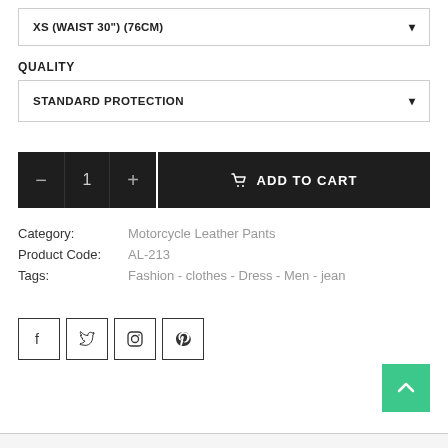XS (WAIST 30") (76CM)
QUALITY
STANDARD PROTECTION
1
ADD TO CART
Category: Motorcycle Leather Pants
Product Code: AL-213
Tags: Fashion - clothes - Dress - Men - jean
[Figure (other): Social media share icons: Facebook, Twitter, Instagram, Pinterest]
[Figure (other): Back to top button with upward arrow, teal/green background]